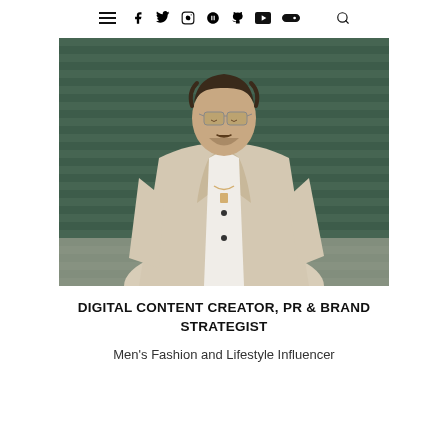≡ f t ⊡ ℗ t ▶ ♫ ))) Q
[Figure (photo): A young man with glasses wearing an open linen blazer and white shirt with chain necklaces, standing in front of a dark green corrugated wall, looking downward. Street style fashion photo.]
DIGITAL CONTENT CREATOR, PR & BRAND STRATEGIST
Men's Fashion and Lifestyle Influencer